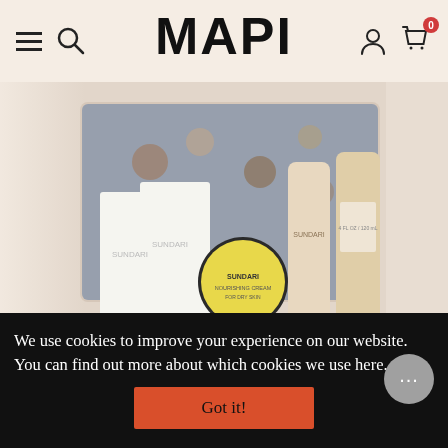MAPI
[Figure (photo): Product photo of Sundari beauty bag set: floral cosmetic bag, white product boxes, yellow cream jar, and beige tubes on a warm beige background]
30% OFF
SUNDARI BEAUTY BAG FOR
We use cookies to improve your experience on our website. You can find out more about which cookies we use here.
Got it!